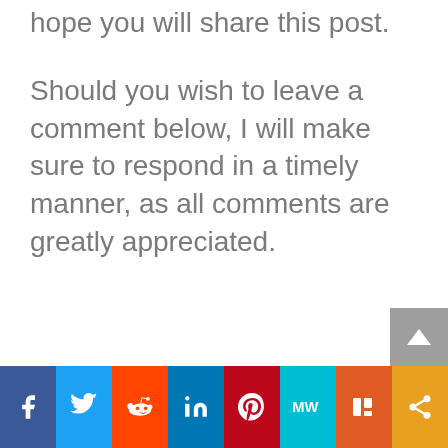hope you will share this post.
Should you wish to leave a comment below, I will make sure to respond in a timely manner, as all comments are greatly appreciated.
Social share bar: Facebook, Twitter, Reddit, LinkedIn, Pinterest, MiMedia/MW, Mix, Share